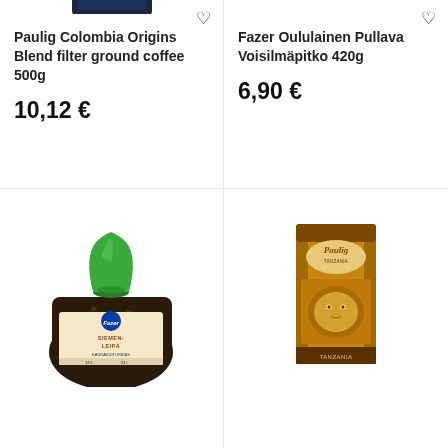[Figure (photo): Partial top of a dark product package (coffee) visible at top of page, cut off]
Paulig Colombia Origins Blend filter ground coffee 500g
10,12 €
Fazer Oululainen Pullava Voisilmäpitko 420g
6,90 €
[Figure (photo): Fazer Oululainen Siemenleipä seed bread in a plastic bag with green top tie]
[Figure (photo): Paulig Tanzania coffee package, dark golden-brown box with lion image]